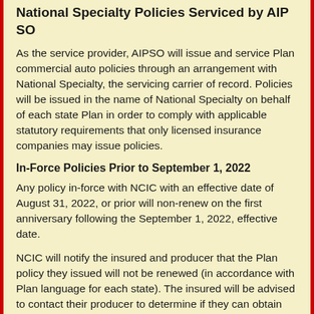National Specialty Policies Serviced by AIP SO
As the service provider, AIPSO will issue and service Plan commercial auto policies through an arrangement with National Specialty, the servicing carrier of record. Policies will be issued in the name of National Specialty on behalf of each state Plan in order to comply with applicable statutory requirements that only licensed insurance companies may issue policies.
In-Force Policies Prior to September 1, 2022
Any policy in-force with NCIC with an effective date of August 31, 2022, or prior will non-renew on the first anniversary following the September 1, 2022, effective date.
NCIC will notify the insured and producer that the Plan policy they issued will not be renewed (in accordance with Plan language for each state). The insured will be advised to contact their producer to determine if they can obtain coverage in the